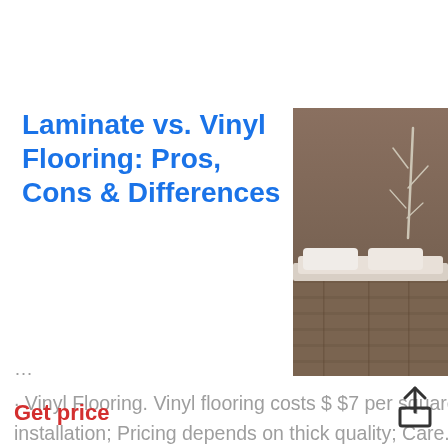Laminate vs. Vinyl Flooring: Pros, Cons & Differences
[Figure (photo): Bedroom with wood-look vinyl or laminate flooring, bed with white bedding, and decorative tree branch in background]
· Vinyl Flooring. Vinyl flooring costs $ $7 per square foot, without installation; Pricing depends on thick quality; Care. The Easiest to Care fo Laminate. Quick, easy floor cleaning essential in busy s. Ideally, you won't special cleaners and products to kee
…
Get price